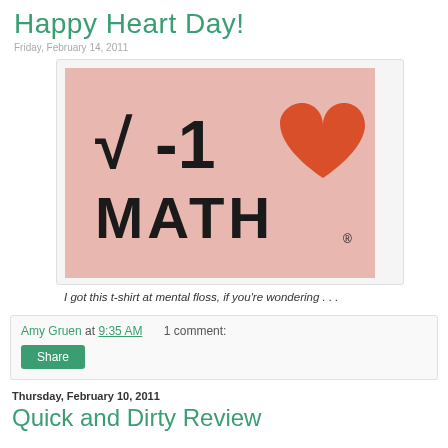Happy Heart Day!
[Figure (photo): A pink t-shirt with the text '√-1 ♥ MATH' printed on it, where √-1 is written in large black characters and a red/orange heart symbol replaces the word 'love', and MATH is written in large bold black letters below.]
I got this t-shirt at mental floss, if you're wondering . . .
Amy Gruen at 9:35 AM   1 comment:
Share
Thursday, February 10, 2011
Quick and Dirty Review